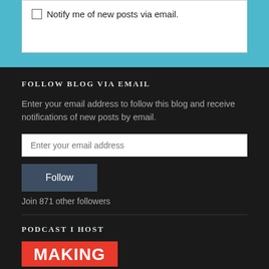Notify me of new posts via email.
FOLLOW BLOG VIA EMAIL
Enter your email address to follow this blog and receive notifications of new posts by email.
Enter your email address
Follow
Join 871 other followers
PODCAST I HOST
[Figure (logo): Red box with white bold text reading MAKING]